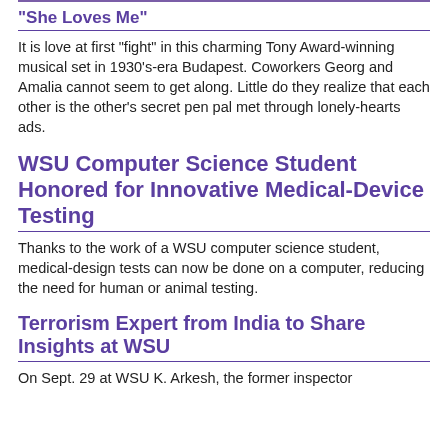"She Loves Me"
It is love at first "fight" in this charming Tony Award-winning musical set in 1930's-era Budapest. Coworkers Georg and Amalia cannot seem to get along. Little do they realize that each other is the other's secret pen pal met through lonely-hearts ads.
WSU Computer Science Student Honored for Innovative Medical-Device Testing
Thanks to the work of a WSU computer science student, medical-design tests can now be done on a computer, reducing the need for human or animal testing.
Terrorism Expert from India to Share Insights at WSU
On Sept. 29 at WSU K. Arkesh, the former inspector